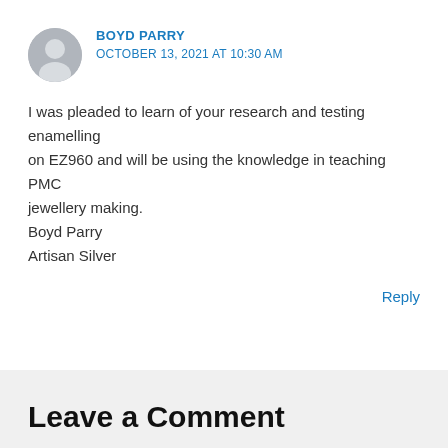BOYD PARRY
OCTOBER 13, 2021 AT 10:30 AM
I was pleaded to learn of your research and testing enamelling
on EZ960 and will be using the knowledge in teaching PMC jewellery making.
Boyd Parry
Artisan Silver
Reply
Leave a Comment
Your email address will not be published. Required fields are